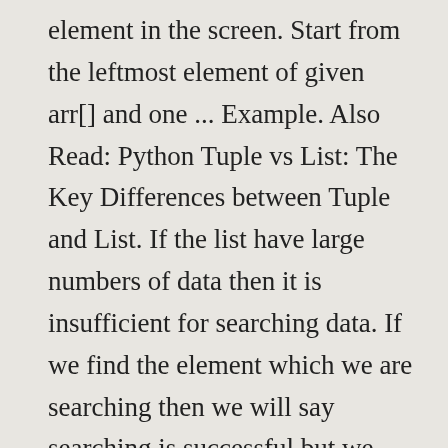element in the screen. Start from the leftmost element of given arr[] and one ... Example. Also Read: Python Tuple vs List: The Key Differences between Tuple and List. If the list have large numbers of data then it is insufficient for searching data. If we find the element which we are searching then we will say searching is successful but we don't found the element then we will say searching is not successful. Time taken by linear search algorithm is at the comparison step where each item of the list is compared with the desired/searched item. Linear search in python. Code for Linear Search 1 If you have any doubt regarding this then feel free to